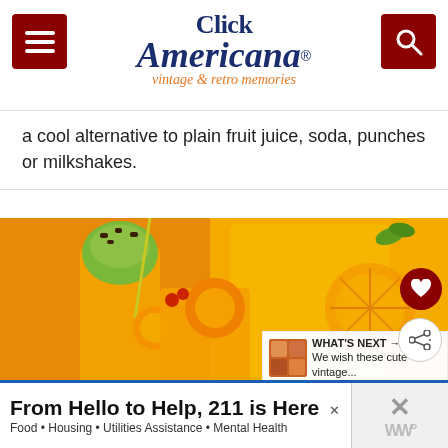Click Americana® vintage & retro memories
a cool alternative to plain fruit juice, soda, punches or milkshakes.
[Figure (photo): Orange drinks and milkshake served in tall glasses with orange slices and greenish ice cream topping with chocolate chips, alongside a pitcher of orange juice with mint garnish.]
WHAT'S NEXT → We wish these cute vintage...
From Hello to Help, 211 is Here
Food • Housing • Utilities Assistance • Mental Health